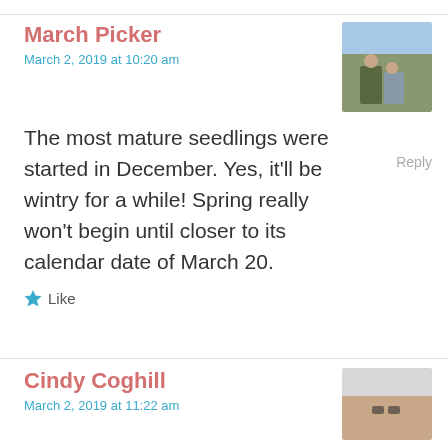March Picker
March 2, 2019 at 10:20 am
[Figure (photo): Photo of two people (man and woman) standing outdoors in a flower field on a sunny day]
The most mature seedlings were started in December. Yes, it'll be wintry for a while! Spring really won't begin until closer to its calendar date of March 20.
Reply
Like
Cindy Coghill
March 2, 2019 at 11:22 am
[Figure (photo): Photo of an older woman with white/gray hair wearing glasses]